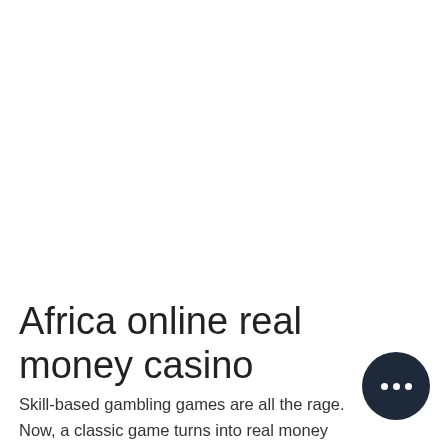Africa online real money casino
Skill-based gambling games are all the rage. Now, a classic game turns into real money solitaire, available in online casino format from Calvin casino priscilla, as well as